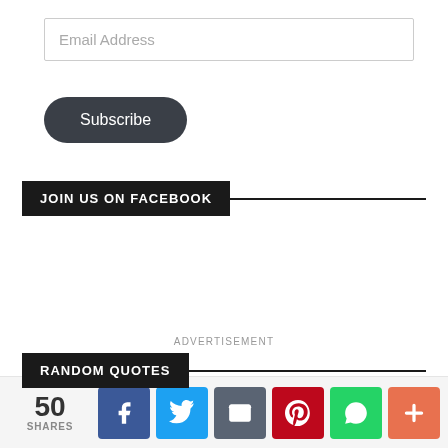Email Address
Subscribe
JOIN US ON FACEBOOK
ADVERTISEMENT
RANDOM QUOTES
50 SHARES | Facebook | Twitter | Email | Pinterest | WhatsApp | More